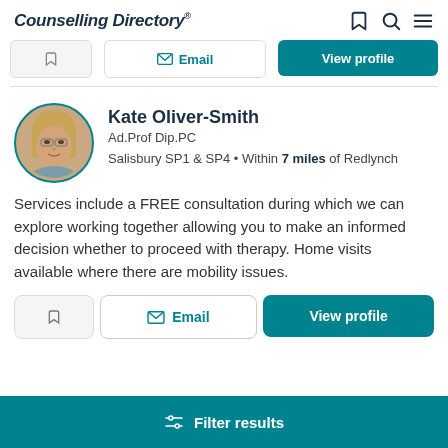Counselling Directory
[Figure (screenshot): Top navigation bar with bookmark, search, and menu icons]
[Figure (photo): Partially visible action buttons: save, Email, View profile (from a previous listing)]
[Figure (photo): Profile photo of Kate Oliver-Smith, a woman with blonde hair and glasses, in a circular teal-bordered frame]
Kate Oliver-Smith
Ad.Prof Dip.PC
Salisbury SP1 & SP4 • Within 7 miles of Redlynch
Services include a FREE consultation during which we can explore working together allowing you to make an informed decision whether to proceed with therapy. Home visits available where there are mobility issues.
Email | View profile
Filter results